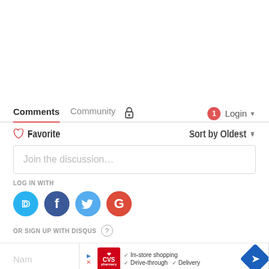Comments   Community   🔒   1   Login
♡ Favorite   Sort by Oldest
Join the discussion…
LOG IN WITH
[Figure (other): Social login icons: Disqus (D), Facebook (f), Twitter bird, Google (G)]
OR SIGN UP WITH DISQUS (?)
[Figure (other): CVS Pharmacy advertisement banner: In-store shopping, Drive-through, Delivery with directional arrow sign]